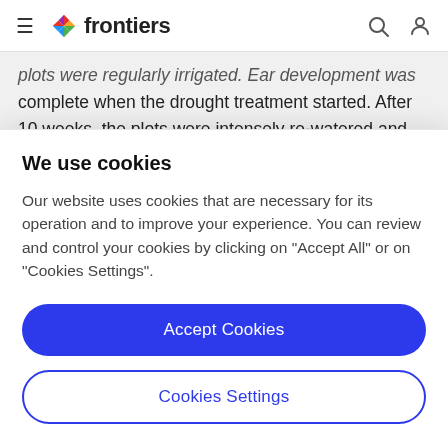frontiers
plots were regularly irrigated. Ear development was complete when the drought treatment started. After 10 weeks, the plots were intensely re-watered and afterward regularly irrigated. For this particular study, six control and six drought-treated saplings from a mesic beech
We use cookies
Our website uses cookies that are necessary for its operation and to improve your experience. You can review and control your cookies by clicking on "Accept All" or on "Cookies Settings".
Accept Cookies
Cookies Settings